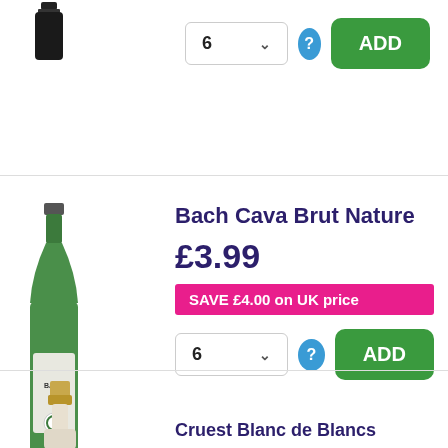[Figure (photo): Partial view of a wine bottle (top/cap only) in dark color]
6  ∨
ADD
Bach Cava Brut Nature
£3.99
SAVE £4.00 on UK price
[Figure (photo): Green wine bottle for Bach Cava Brut Nature]
6  ∨
ADD
[Figure (photo): Partial wine bottle bottom with gold foil cap]
Cruest Blanc de Blancs